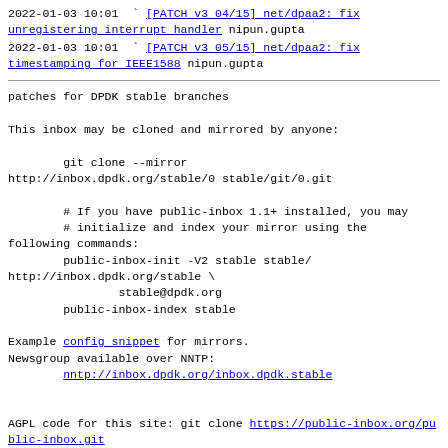2022-01-03 10:01  ` [PATCH v3 04/15] net/dpaa2: fix unregistering interrupt handler nipun.gupta
2022-01-03 10:01  ` [PATCH v3 05/15] net/dpaa2: fix timestamping for IEEE1588 nipun.gupta
patches for DPDK stable branches

This inbox may be cloned and mirrored by anyone:

        git clone --mirror
http://inbox.dpdk.org/stable/0 stable/git/0.git

        # If you have public-inbox 1.1+ installed, you may
        # initialize and index your mirror using the following commands:
        public-inbox-init -V2 stable stable/
http://inbox.dpdk.org/stable \
                stable@dpdk.org
        public-inbox-index stable

Example config snippet for mirrors.
Newsgroup available over NNTP:
        nntp://inbox.dpdk.org/inbox.dpdk.stable


AGPL code for this site: git clone https://public-inbox.org/public-inbox.git